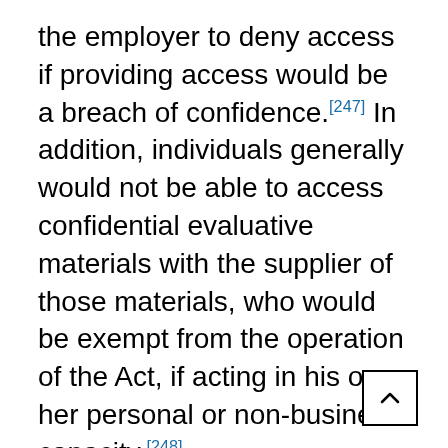the employer to deny access if providing access would be a breach of confidence.[247] In addition, individuals generally would not be able to access confidential evaluative materials with the supplier of those materials, who would be exempt from the operation of the Act, if acting in his or her personal or non-business capacity.[248]
40.156 There also are concerns about the handling of personal information in the context of